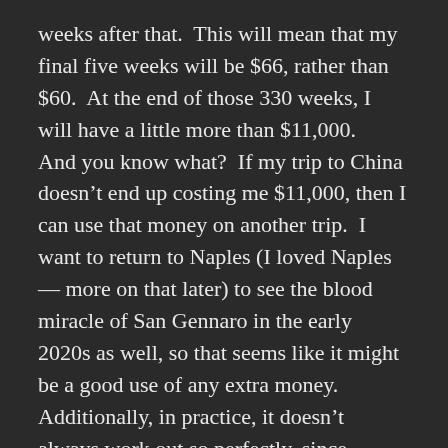weeks after that.  This will mean that my final five weeks will be $66, rather than $60.  At the end of those 330 weeks, I will have a little more than $11,000.
And you know what?  If my trip to China doesn't end up costing me $11,000, then I can use that money on another trip.  I want to return to Naples (I loved Naples — more on that later) to see the blood miracle of San Gennaro in the early 2020s as well, so that seems like it might be a good use of any extra money.
Additionally, in practice, it doesn't always work out so perfectly, since sometimes money is a